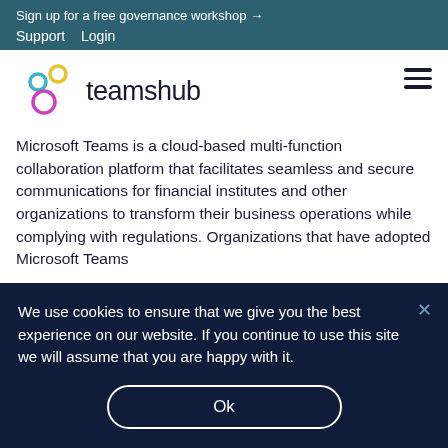Sign up for a free governance workshop →
Support   Login
[Figure (logo): Teamshub logo with three interconnected circles in yellow, blue, and magenta, and the text 'teamshub' in dark color]
Microsoft Teams is a cloud-based multi-function collaboration platform that facilitates seamless and secure communications for financial institutes and other organizations to transform their business operations while complying with regulations. Organizations that have adopted Microsoft Teams
We use cookies to ensure that we give you the best experience on our website. If you continue to use this site we will assume that you are happy with it.
Ok